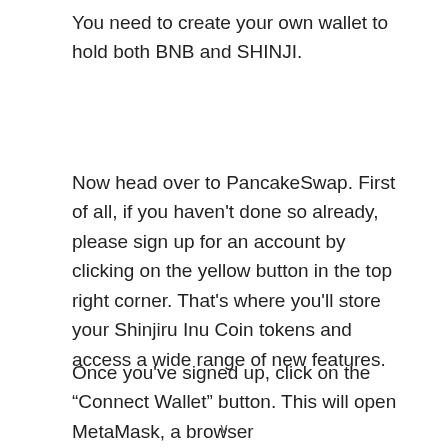You need to create your own wallet to hold both BNB and SHINJI.
Now head over to PancakeSwap. First of all, if you haven't done so already, please sign up for an account by clicking on the yellow button in the top right corner. That's where you'll store your Shinjiru Inu Coin tokens and access a wide range of new features.
Once you've signed up, click on the “Connect Wallet” button. This will open MetaMask, a browser